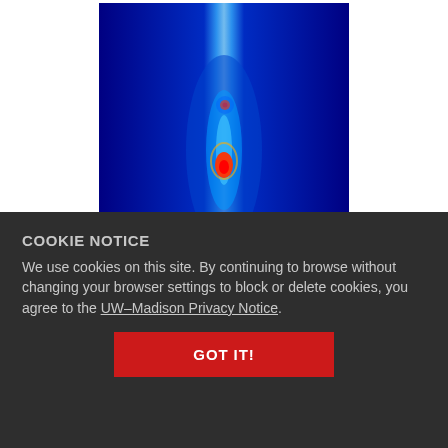[Figure (other): False-color heat map / detector image showing a vertical bright streak on a deep blue background, with a hot spot (red/orange/yellow) near the center and a smaller bright dot above it. Likely a laser or particle beam scattering image.]
COOKIE NOTICE
We use cookies on this site. By continuing to browse without changing your browser settings to block or delete cookies, you agree to the UW–Madison Privacy Notice.
GOT IT!